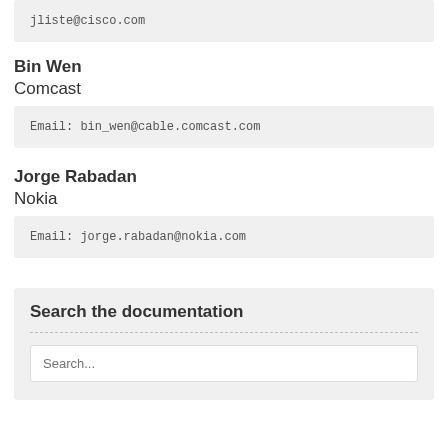jliste@cisco.com
Bin Wen
Comcast
Email: bin_wen@cable.comcast.com
Jorge Rabadan
Nokia
Email: jorge.rabadan@nokia.com
Search the documentation